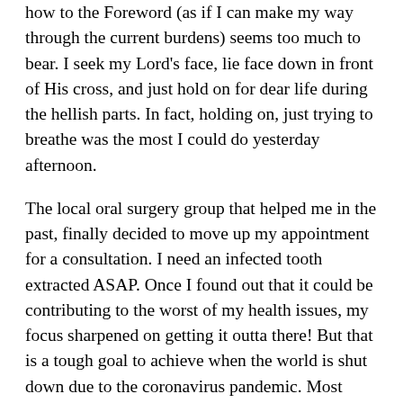how to the Foreword (as if I can make my way through the current burdens) seems too much to bear. I seek my Lord's face, lie face down in front of His cross, and just hold on for dear life during the hellish parts. In fact, holding on, just trying to breathe was the most I could do yesterday afternoon.
The local oral surgery group that helped me in the past, finally decided to move up my appointment for a consultation. I need an infected tooth extracted ASAP. Once I found out that it could be contributing to the worst of my health issues, my focus sharpened on getting it outta there! But that is a tough goal to achieve when the world is shut down due to the coronavirus pandemic. Most dental and hospital services are shut down if deemed “non-essential.” The definition of “essential” seems to vary among various medical specialties, however. Three weeks went by after my